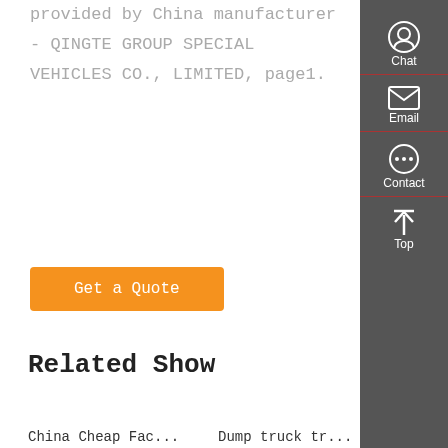provided by China manufacturer - QINGTE GROUP SPECIAL VEHICLES CO., LIMITED, page1.
Get a Quote
Related Show
China Cheap Fac...
Dump truck tr...
China Hot Selli...
Dump truck driv...